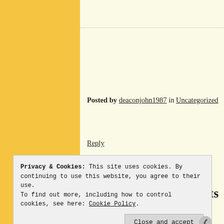Posted by deaconjohn1987 in Uncategorized
Reply
LifeNews: Ireland Wants to Force D Abortions, But They're Fighting Bac
Privacy & Cookies: This site uses cookies. By continuing to use this website, you agree to their use. To find out more, including how to control cookies, see here: Cookie Policy
Close and accept